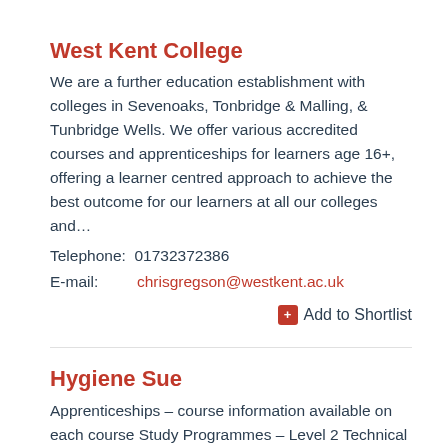West Kent College
We are a further education establishment with colleges in Sevenoaks, Tonbridge & Malling, & Tunbridge Wells. We offer various accredited courses and apprenticeships for learners age 16+, offering a learner centred approach to achieve the best outcome for our learners at all our colleges and…
Telephone:  01732372386
E-mail:        chrisgregson@westkent.ac.uk
Add to Shortlist
Hygiene Sue
Apprenticeships – course information available on each course Study Programmes – Level 2 Technical